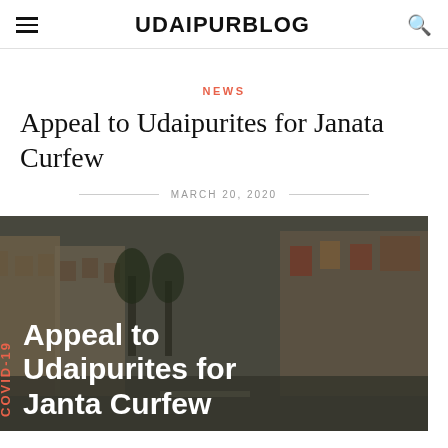UDAIPURBLOG
NEWS
Appeal to Udaipurites for Janata Curfew
MARCH 20, 2020
[Figure (photo): Street scene of Udaipur city market with buildings, trees, and shops. Overlaid with bold white text reading 'Appeal to Udaipurites for Janta Curfew' and red vertical text 'COVID-19'.]